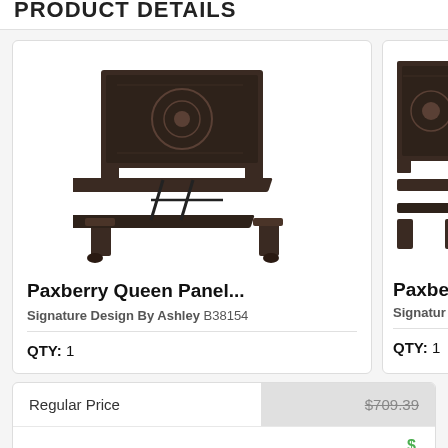PRODUCT DETAILS
[Figure (photo): Paxberry Queen Panel bed frame with carved dark brown headboard, angled product photo on white background]
Paxberry Queen Panel...
Signature Design By Ashley B38154
QTY: 1
[Figure (photo): Paxberry bed headboard, partially cropped, dark brown carved wood]
Paxbe
Signature
QTY: 1
|  |  |
| --- | --- |
| Regular Price | $709.39 |